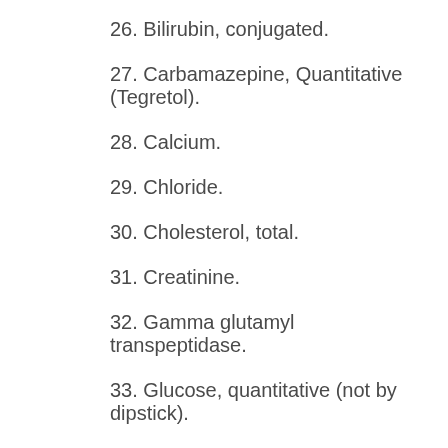26. Bilirubin, conjugated.
27. Carbamazepine, Quantitative (Tegretol).
28. Calcium.
29. Chloride.
30. Cholesterol, total.
31. Creatinine.
32. Gamma glutamyl transpeptidase.
33. Glucose, quantitative (not by dipstick).
34. Glycosylated hemoglobin — Hgb Al.
35. High Density Lipoprotein Cholesterol.
36. Iron, Total — with iron binding capacity.
37. Lactate...